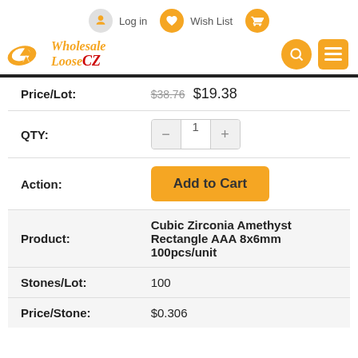Log in  Wish List  [cart icon]
[Figure (logo): Wholesale Loose CZ logo with search and menu icons]
| Price/Lot: | $38.76 $19.38 |
| QTY: | 1 |
| Action: | Add to Cart |
| Product: | Cubic Zirconia Amethyst Rectangle AAA 8x6mm 100pcs/unit |
| Stones/Lot: | 100 |
| Price/Stone: | $0.306 |